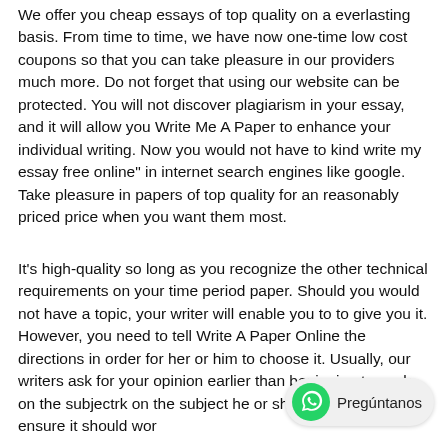We offer you cheap essays of top quality on a everlasting basis. From time to time, we have now one-time low cost coupons so that you can take pleasure in our providers much more. Do not forget that using our website can be protected. You will not discover plagiarism in your essay, and it will allow you Write Me A Paper to enhance your individual writing. Now you would not have to kind write my essay free online" in internet search engines like google. Take pleasure in papers of top quality for an reasonably priced price when you want them most.
It's high-quality so long as you recognize the other technical requirements on your time period paper. Should you would not have a topic, your writer will enable you to to give you it. However, you need to tell Write A Paper Online the directions in order for her or him to choose it. Usually, our writers ask for your opinion earlier than beginning to work on the subject he or she decides on to ensure it should wor